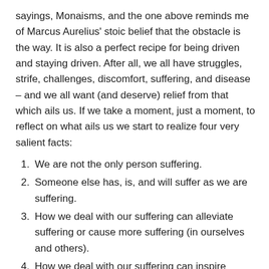sayings, Monaisms, and the one above reminds me of Marcus Aurelius' stoic belief that the obstacle is the way. It is also a perfect recipe for being driven and staying driven. After all, we all have struggles, strife, challenges, discomfort, suffering, and disease – and we all want (and deserve) relief from that which ails us. If we take a moment, just a moment, to reflect on what ails us we start to realize four very salient facts:
We are not the only person suffering.
Someone else has, is, and will suffer as we are suffering.
How we deal with our suffering can alleviate suffering or cause more suffering (in ourselves and others).
How we deal with our suffering can inspire others as they deal with their suffering.